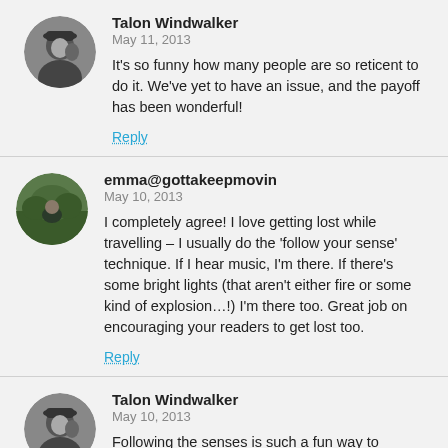Talon Windwalker
May 11, 2013
It's so funny how many people are so reticent to do it. We've yet to have an issue, and the payoff has been wonderful!
Reply
emma@gottakeepmovin
May 10, 2013
I completely agree! I love getting lost while travelling – I usually do the 'follow your sense' technique. If I hear music, I'm there. If there's some bright lights (that aren't either fire or some kind of explosion…!) I'm there too. Great job on encouraging your readers to get lost too.
Reply
Talon Windwalker
May 10, 2013
Following the senses is such a fun way to explore! I'm always finding new, wonderful things with that